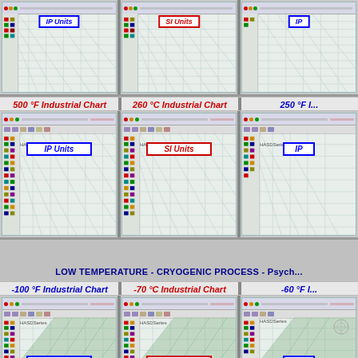[Figure (screenshot): 500 °F Industrial Chart - IP Units psychrometric chart screenshot]
500 °F Industrial Chart
[Figure (screenshot): 260 °C Industrial Chart - SI Units psychrometric chart screenshot]
260 °C Industrial Chart
[Figure (screenshot): 250 °F Industrial Chart - IP Units psychrometric chart screenshot (partially visible)]
250 °F I...
LOW TEMPERATURE - CRYOGENIC PROCESS - Psych...
-100 °F Industrial Chart
[Figure (screenshot): -100 °F Industrial Chart - IP Units psychrometric chart screenshot]
-70 °C Industrial Chart
[Figure (screenshot): -70 °C Industrial Chart - SI Units psychrometric chart screenshot]
-60 °F I...
[Figure (screenshot): -60 °F Industrial Chart - IP Units psychrometric chart screenshot (partially visible)]